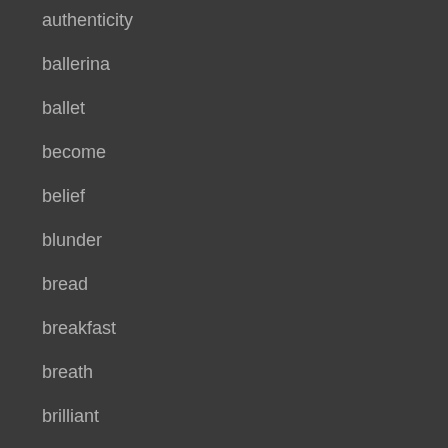authenticity
ballerina
ballet
become
belief
blunder
bread
breakfast
breath
brilliant
business
career
censored
cheers principles
cheese